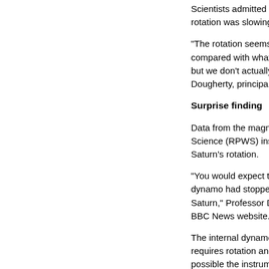Scientists admitted they were surprised by the finding that the rotation was slowing.
"The rotation seems to have slowed down by about sev... compared with what was inferred from the Pioneer and... but we don't actually understand why," said Professor M... Dougherty, principal investigator for Cassini's magnetor...
Surprise finding
Data from the magnetometer and Cassini's Radio and P... Science (RPWS) instrument both seem to show the slo... Saturn's rotation.
"You would expect the rotation of the planet to slow dow... dynamo had stopped, but that does not seem to be the... Saturn," Professor Dougherty, from Imperial College Lo... BBC News website.
The internal dynamo is the source of a planet's magnet... requires rotation and a fluid core. Professor Dougherty... possible the instruments were observing "rotational reg... the surface of Saturn rather than anything to do with the...
"If you sit down and think about it, it's very difficult to co... scenario where the interior of the planet is slowing dow...
UK science and innovation minister Lord Sainsbury, wh... briefing in Birmingham, praised UK scientists involved i... Huygens as the orbiter celebrated its first year in orbit a...